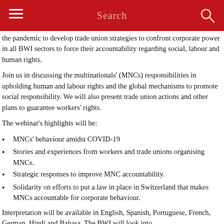Search
the pandemic to develop trade union strategies to confront corporate power in all BWI sectors to force their accountability regarding social, labour and human rights.
Join us in discussing the multinationals' (MNCs) responsibilities in upholding human and labour rights and the global mechanisms to promote social responsibility. We will also present trade union actions and other plans to guarantee workers' rights.
The webinar's highlights will be:
MNCs' behaviour amidst COVID-19
Stories and experiences from workers and trade unions organising MNCs.
Strategic responses to improve MNC accountability.
Solidarity on efforts to put a law in place in Switzerland that makes MNCs accountable for corporate behaviour.
Interpretation will be available in English, Spanish, Portuguese, French, German, Hindi and Bahasa. The BWI will look into